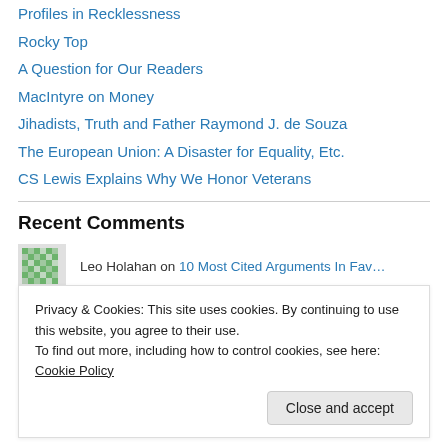Profiles in Recklessness
Rocky Top
A Question for Our Readers
MacIntyre on Money
Jihadists, Truth and Father Raymond J. de Souza
The European Union: A Disaster for Equality, Etc.
CS Lewis Explains Why We Honor Veterans
Recent Comments
Leo Holahan on 10 Most Cited Arguments In Fav…
Rez Families on Sex, the Fall, and the Resurre…
Privacy & Cookies: This site uses cookies. By continuing to use this website, you agree to their use. To find out more, including how to control cookies, see here: Cookie Policy
Close and accept
Jacques from france on How Europe Sees America